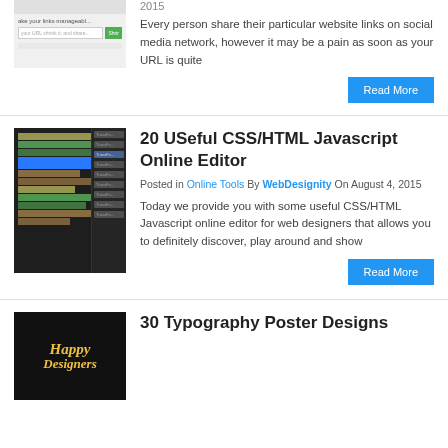[Figure (screenshot): URL shortener web app screenshot (partial, top cropped)]
2015
Every person share their particular website links on social media network, however it may be a pain as soon as your URL is quite
Read More
[Figure (screenshot): Code editor screenshot showing CSS/HTML/JavaScript syntax-highlighted code with sidebar]
20 USeful CSS/HTML Javascript Online Editor
Posted in Online Tools By WebDesignity On August 4, 2015
Today we provide you with some useful CSS/HTML Javascript online editor for web designers that allows you to definitely discover, play around and show
Read More
[Figure (photo): Typography poster with 'Happy Designers' gold script text on dark background]
30 Typography Poster Designs